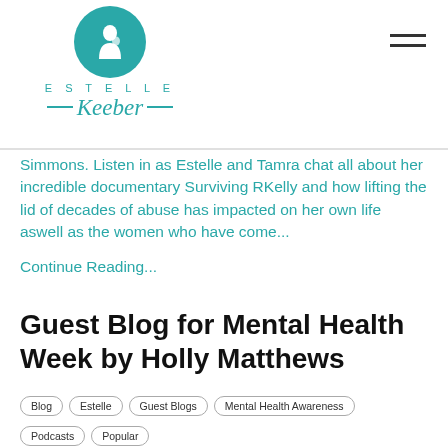[Figure (logo): Estelle Keeber logo with teal circle containing a mother and child silhouette, text 'ESTELLE' in spaced caps and 'Keeber' in cursive italic with decorative lines]
Simmons. Listen in as Estelle and Tamra chat all about her incredible documentary Surviving RKelly and how lifting the lid of decades of abuse has impacted on her own life aswell as the women who have come...
Continue Reading...
Guest Blog for Mental Health Week by Holly Matthews
Blog
Estelle
Guest Blogs
Mental Health Awareness
Podcasts
Popular